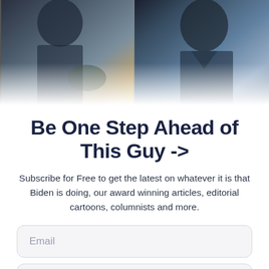[Figure (photo): Two male figures in a split photo — left side shows a man with glasses in what appears to be an outdoor setting, right side shows an older man in a blue suit. Photos are cropped at face/upper body level.]
Be One Step Ahead of This Guy ->
Subscribe for Free to get the latest on whatever it is that Biden is doing, our award winning articles, editorial cartoons, columnists and more.